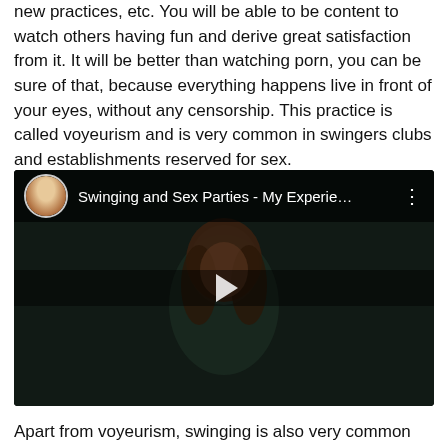new practices, etc. You will be able to be content to watch others having fun and derive great satisfaction from it. It will be better than watching porn, you can be sure of that, because everything happens live in front of your eyes, without any censorship. This practice is called voyeurism and is very common in swingers clubs and establishments reserved for sex.
[Figure (screenshot): YouTube video thumbnail showing a woman with long auburn hair against a dark background, with video title 'Swinging and Sex Parties - My Experie...' and a play button overlay]
Apart from voyeurism, swinging is also very common between